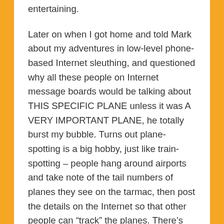entertaining.
Later on when I got home and told Mark about my adventures in low-level phone-based Internet sleuthing, and questioned why all these people on Internet message boards would be talking about THIS SPECIFIC PLANE unless it was A VERY IMPORTANT PLANE, he totally burst my bubble. Turns out plane-spotting is a big hobby, just like train-spotting – people hang around airports and take note of the tail numbers of planes they see on the tarmac, then post the details on the Internet so that other people can “track” the planes. There’s even an app you can buy that lets you input the tail numbers and plot all the plane’s flights on a map.
So, fuck it. Next time I have to wait for the dog to